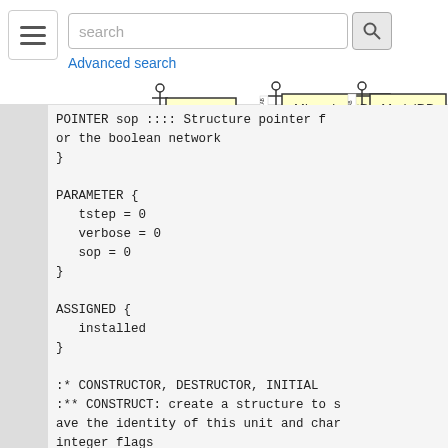[Figure (screenshot): Navigation bar with hamburger menu, search input, search button, and Advanced search link]
[Figure (logo): SenseLab logo with stick figure]
[Figure (logo): MicrocircuitDB logo with stick figure]
[Figure (logo): ModelDB logo with stick figure]
POINTER sop :::: Structure pointer for the boolean network
}

PARAMETER {
    tstep = 0
    verbose = 0
    sop = 0
}

ASSIGNED {
    installed
}

:* CONSTRUCTOR, DESTRUCTOR, INITIAL
:** CONSTRUCT: create a structure to save the identity of this unit and char integer flags
CONSTRUCTOR {
    VERBATIM